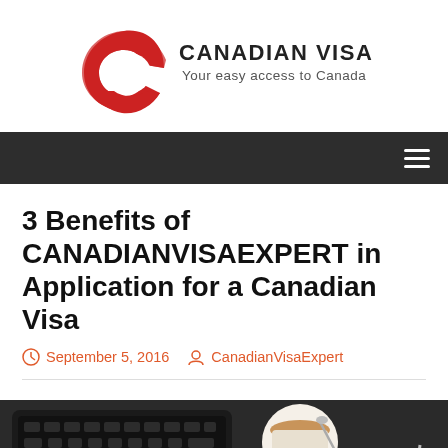[Figure (logo): Canadian Visa Expert logo — red C-shaped arc with text 'CANADIAN VISA EXPERT' and tagline 'Your easy access to Canada']
Navigation bar with hamburger menu icon
3 Benefits of CANADIANVISAEXPERT in Application for a Canadian Visa
September 5, 2016  CanadianVisaExpert
[Figure (photo): Flat-lay photo of a laptop keyboard, a cup of coffee with a spoon, and colorful highlighter pens (orange, yellow, green, pink) on a dark surface]